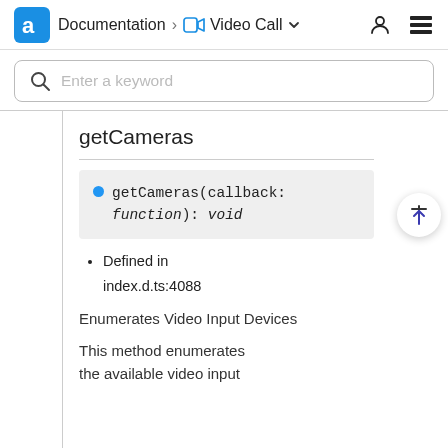Documentation > Video Call
Enter a keyword
getCameras
getCameras(callback: function): void
Defined in index.d.ts:4088
Enumerates Video Input Devices
This method enumerates the available video input